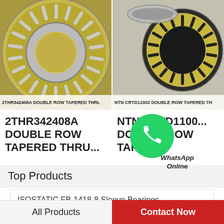[Figure (photo): 2THR342408A double row tapered thrust bearing, gold/silver colored, top view showing roller elements arranged in ring]
2THR342408A DOUBLE ROW TAPERED THRL
[Figure (photo): NTN CRTD11002 double row tapered thrust bearing components, gold cage with dark race rings]
NTN CRTD11002 DOUBLE ROW TAPERED TH
2THR342408A DOUBLE ROW TAPERED THRU...
NTN CRTD1100... DOUBLE ROW TAPER...
[Figure (logo): WhatsApp green circle logo with phone icon, with text 'WhatsApp Online']
Top Products
ISOSTATIC FB-1418-8 Sleeve Bearings
0.984 Inch | 25 Millimeter x 1.496 Inch | 38
All Products | Contact Now